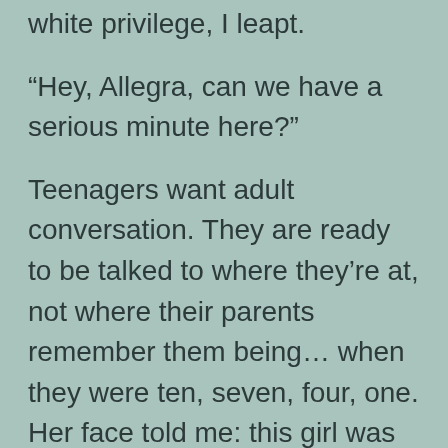white privilege, I leapt.
“Hey, Allegra, can we have a serious minute here?”
Teenagers want adult conversation. They are ready to be talked to where they’re at, not where their parents remember them being… when they were ten, seven, four, one. Her face told me: this girl was ready for a serious minute.
“So did you hear about how some kids at Denfeld doctored a picture of one of their classmates—a black kid—by drawing a noose